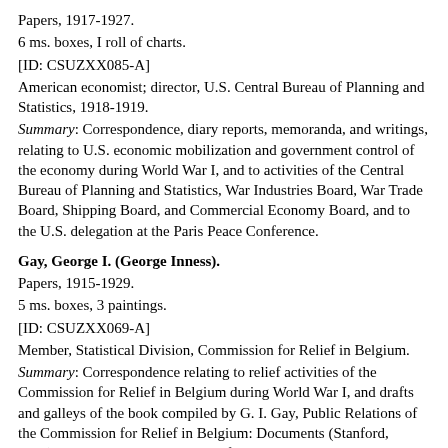Papers, 1917-1927.
6 ms. boxes, I roll of charts.
[ID: CSUZXX085-A]
American economist; director, U.S. Central Bureau of Planning and Statistics, 1918-1919.
Summary: Correspondence, diary reports, memoranda, and writings, relating to U.S. economic mobilization and government control of the economy during World War I, and to activities of the Central Bureau of Planning and Statistics, War Industries Board, War Trade Board, Shipping Board, and Commercial Economy Board, and to the U.S. delegation at the Paris Peace Conference.
Gay, George I. (George Inness).
Papers, 1915-1929.
5 ms. boxes, 3 paintings.
[ID: CSUZXX069-A]
Member, Statistical Division, Commission for Relief in Belgium.
Summary: Correspondence relating to relief activities of the Commission for Relief in Belgium during World War I, and drafts and galleys of the book compiled by G. I. Gay, Public Relations of the Commission for Relief in Belgium: Documents (Stanford, 1929). Includes three paintings on flour sacks.
Georgievich, M.
Vstriechnyi boi divizii i korpusa: typescript, n.d.
1 item (1 folder).